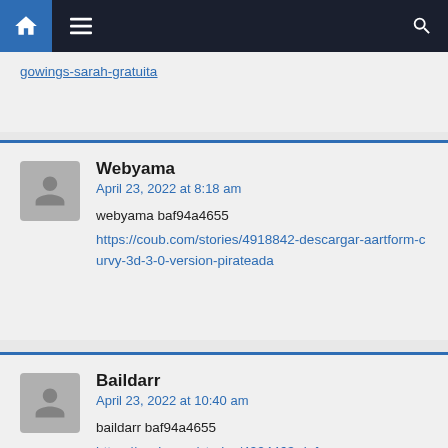Navigation bar with home, menu, and search icons
gowings-sarah-gratuita
Webyama
April 23, 2022 at 8:18 am

webyama baf94a4655
https://coub.com/stories/4918842-descargar-aartform-curvy-3d-3-0-version-pirateada
Baildarr
April 23, 2022 at 10:40 am

baildarr baf94a4655
https://coub.com/stories/4924463-defense-